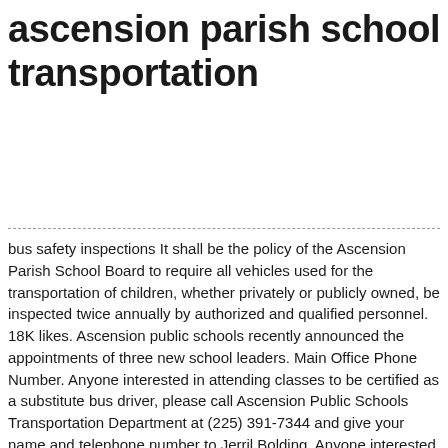ascension parish school transportation
bus safety inspections It shall be the policy of the Ascension Parish School Board to require all vehicles used for the transportation of children, whether privately or publicly owned, be inspected twice annually by authorized and qualified personnel. 18K likes. Ascension public schools recently announced the appointments of three new school leaders. Main Office Phone Number. Anyone interested in attending classes to be certified as a substitute bus driver, please call Ascension Public Schools Transportation Department at (225) 391-7344 and give your name and telephone number to Jerril Bolding. Anyone interested in attending classes to be certified as a substitute bus driver, please call Ascension Public Schools Transportation Department at (225) 391 … The Stuff the Bus school supply drive, in its fifth year, helps parents and children in Baton Rouge and Ascension Parish who find their students without necessary school supplies due to economic hardship. Access statistical information, contact links, and other local information for Ascension Parish. | It is the policy of the Ascension Parish School Board to provide equal opportunities without regard to